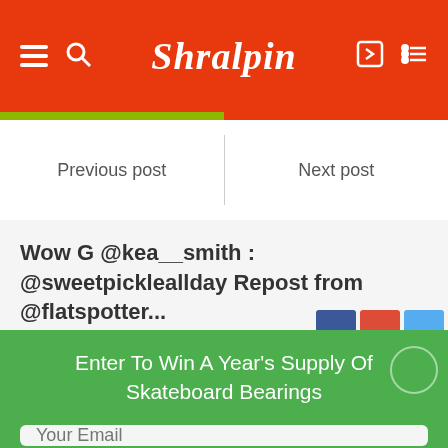Shralpin — navigation header with hamburger, search, logo, login, list icons
Previous post | Next post
Wow G @kea__smith : @sweetpickleallday Repost from @flatspotter...
Enter To Win A Year's Supply Of Skateboard Bearings
Your Email
ENTER GIVEAWAY